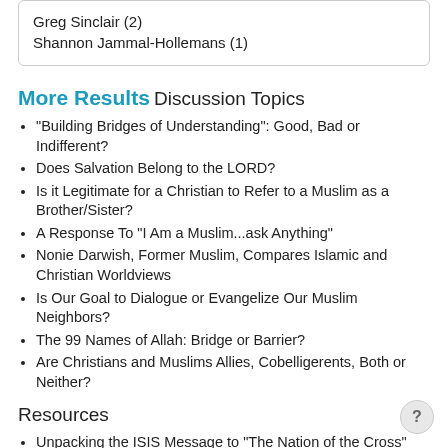Greg Sinclair (2)
Shannon Jammal-Hollemans (1)
More Results
Discussion Topics
"Building Bridges of Understanding": Good, Bad or Indifferent?
Does Salvation Belong to the LORD?
Is it Legitimate for a Christian to Refer to a Muslim as a Brother/Sister?
A Response To "I Am a Muslim...ask Anything"
Nonie Darwish, Former Muslim, Compares Islamic and Christian Worldviews
Is Our Goal to Dialogue or Evangelize Our Muslim Neighbors?
The 99 Names of Allah: Bridge or Barrier?
Are Christians and Muslims Allies, Cobelligerents, Both or Neither?
Resources
Unpacking the ISIS Message to "The Nation of the Cross"
Christian and Islamic Thinking Compared and Contrasted